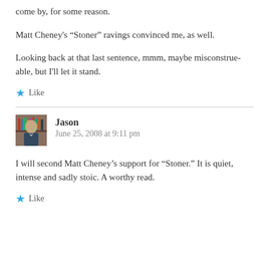come by, for some reason.
Matt Cheney's “Stoner” ravings convinced me, as well.
Looking back at that last sentence, mmm, maybe misconstrue-able, but I'll let it stand.
Like
Jason
June 25, 2008 at 9:11 pm
I will second Matt Cheney’s support for “Stoner.” It is quiet, intense and sadly stoic. A worthy read.
Like